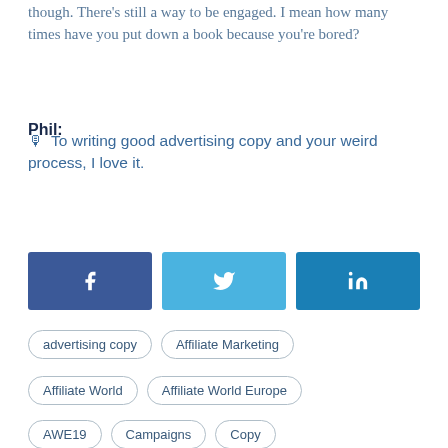though. There's still a way to be engaged. I mean how many times have you put down a book because you're bored?
Phil:
🎙 To writing good advertising copy and your weird process, I love it.
[Figure (infographic): Three social media share buttons: Facebook (dark blue with f icon), Twitter (light blue with bird icon), LinkedIn (teal blue with in icon)]
advertising copy
Affiliate Marketing
Affiliate World
Affiliate World Europe
AWE19
Campaigns
Copy